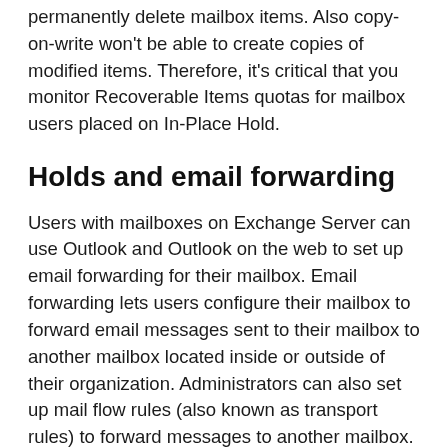permanently delete mailbox items. Also copy-on-write won't be able to create copies of modified items. Therefore, it's critical that you monitor Recoverable Items quotas for mailbox users placed on In-Place Hold.
Holds and email forwarding
Users with mailboxes on Exchange Server can use Outlook and Outlook on the web to set up email forwarding for their mailbox. Email forwarding lets users configure their mailbox to forward email messages sent to their mailbox to another mailbox located inside or outside of their organization. Administrators can also set up mail flow rules (also known as transport rules) to forward messages to another mailbox. In both cases, email forwarding can be configured so that any message sent to the original mailbox isn't copied to that mailbox and is only sent to the forwarding address.